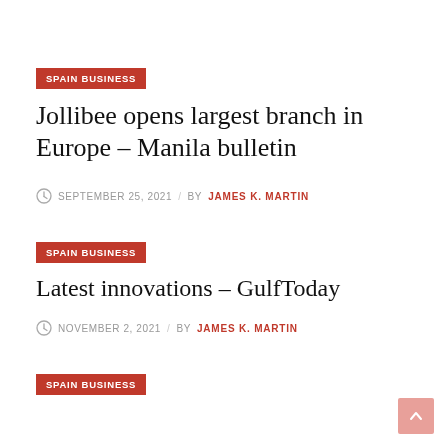SPAIN BUSINESS
Jollibee opens largest branch in Europe – Manila bulletin
SEPTEMBER 25, 2021 / BY JAMES K. MARTIN
SPAIN BUSINESS
Latest innovations – GulfToday
NOVEMBER 2, 2021 / BY JAMES K. MARTIN
SPAIN BUSINESS